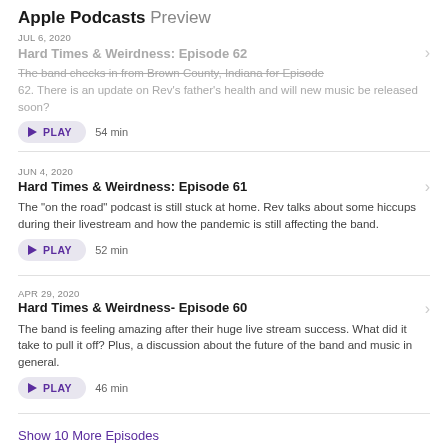Apple Podcasts Preview
JUL 6, 2020
Hard Times & Weirdness: Episode 62
The band checks in from Brown County, Indiana for Episode 62. There is an update on Rev's father's health and will new music be released soon?
PLAY  54 min
JUN 4, 2020
Hard Times & Weirdness: Episode 61
The "on the road" podcast is still stuck at home. Rev talks about some hiccups during their livestream and how the pandemic is still affecting the band.
PLAY  52 min
APR 29, 2020
Hard Times & Weirdness- Episode 60
The band is feeling amazing after their huge live stream success. What did it take to pull it off? Plus, a discussion about the future of the band and music in general.
PLAY  46 min
Show 10 More Episodes